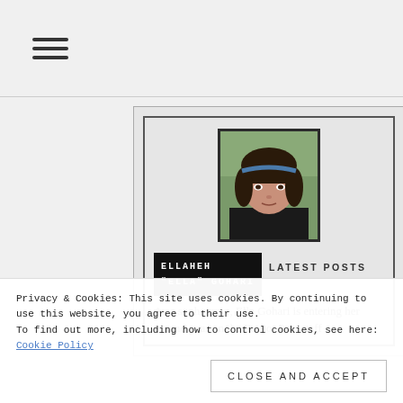≡ (hamburger menu icon)
[Figure (photo): Profile photo of Ella Gohari, a young woman with dark hair, bangs, wearing a blue headband, outdoor background]
ELLAHEH "ELLA" GOHARI
LATEST POSTS
As a sophomore, Ella Gohari is entering her second year on the Patriot Post staff
Privacy & Cookies: This site uses cookies. By continuing to use this website, you agree to their use.
To find out more, including how to control cookies, see here: Cookie Policy
Close and accept